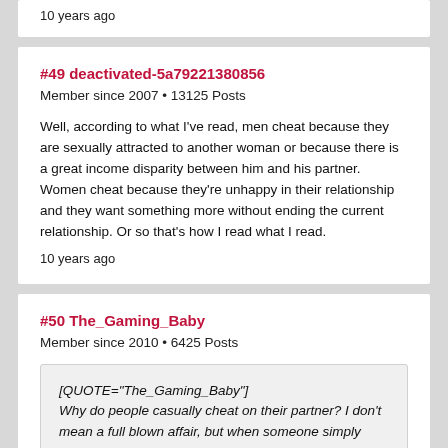10 years ago
#49 deactivated-5a79221380856
Member since 2007 • 13125 Posts
Well, according to what I've read, men cheat because they are sexually attracted to another woman or because there is a great income disparity between him and his partner. Women cheat because they're unhappy in their relationship and they want something more without ending the current relationship. Or so that's how I read what I read.
10 years ago
#50 The_Gaming_Baby
Member since 2010 • 6425 Posts
[QUOTE="The_Gaming_Baby"]
Why do people casually cheat on their partner? I don't mean a full blown affair, but when someone simply kisses another person